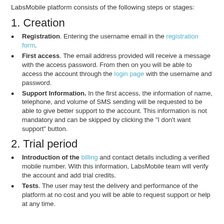LabsMobile platform consists of the following steps or stages:
1. Creation
Registration. Entering the username email in the registration form.
First access. The email address provided will receive a message with the access password. From then on you will be able to access the account through the login page with the username and password.
Support Information. In the first access, the information of name, telephone, and volume of SMS sending will be requested to be able to give better support to the account. This information is not mandatory and can be skipped by clicking the "I don't want support" button.
2. Trial period
Introduction of the billing and contact details including a verified mobile number. With this information, LabsMobile team will verify the account and add trial credits.
Tests. The user may test the delivery and performance of the platform at no cost and you will be able to request support or help at any time.